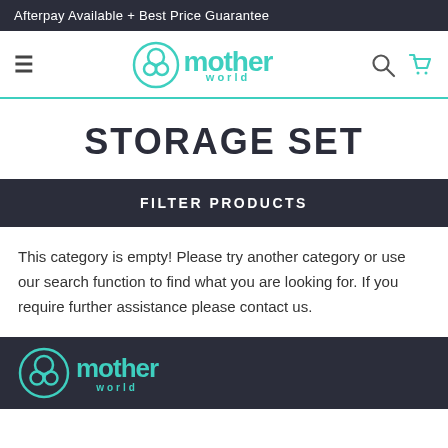Afterpay Available + Best Price Guarantee
[Figure (logo): Mother World logo with hamburger menu, search and cart icons in navigation header]
STORAGE SET
FILTER PRODUCTS
This category is empty! Please try another category or use our search function to find what you are looking for. If you require further assistance please contact us.
[Figure (logo): Mother World logo in footer on dark background]